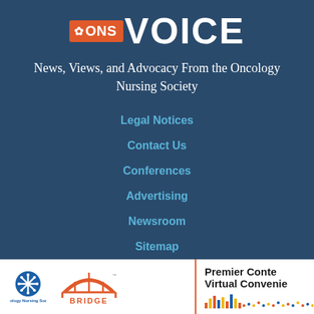[Figure (logo): ONS Voice logo — orange badge with snowflake and 'ONS' text, followed by 'VOICE' in large white letters]
News, Views, and Advocacy From the Oncology Nursing Society
Legal Notices
Contact Us
Conferences
Advertising
Newsroom
Sitemap
[Figure (logo): ONS (Oncology Nursing Society) logo with snowflake icon and text]
[Figure (logo): BRIDGE logo with orange bridge arch graphic and 'BRIDGE' text]
Premier Conte Virtual Convenie